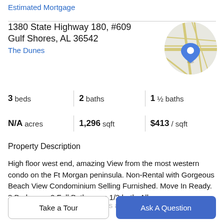Estimated Mortgage
1380 State Highway 180, #609
Gulf Shores, AL 36542
The Dunes
[Figure (map): Circular map thumbnail showing road map with a blue location pin marker]
| 3 beds | 2 baths | 1 ½ baths |
| N/A acres | 1,296 sqft | $413 / sqft |
Property Description
High floor west end, amazing View from the most western condo on the Ft Morgan peninsula. Non-Rental with Gorgeous Beach View Condominium Selling Furnished. Move In Ready. 3 Bedrooms 2 Full Bathrooms 1/2 bath. All tile flooring, granite countertops and hardwood cabinets...